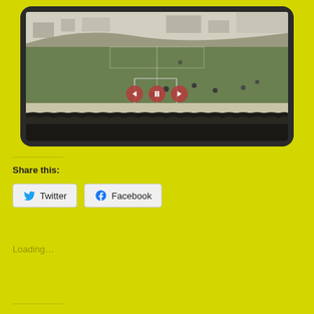[Figure (screenshot): Screenshot of a tablet/device showing a vintage black-and-white photograph of a football match with large crowd, with slideshow navigation controls overlaid (left arrow, pause, right arrow buttons in red circles)]
Share this:
Twitter
Facebook
Loading...